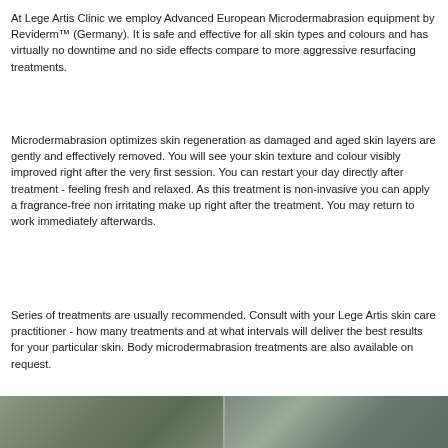At Lege Artis Clinic we employ Advanced European Microdermabrasion equipment by Reviderm™ (Germany). It is safe and effective for all skin types and colours and has virtually no downtime and no side effects compare to more aggressive resurfacing treatments.
Microdermabrasion optimizes skin regeneration as damaged and aged skin layers are gently and effectively removed. You will see your skin texture and colour visibly improved right after the very first session. You can restart your day directly after treatment - feeling fresh and relaxed. As this treatment is non-invasive you can apply a fragrance-free non irritating make up right after the treatment. You may return to work immediately afterwards.
Series of treatments are usually recommended. Consult with your Lege Artis skin care practitioner - how many treatments and at what intervals will deliver the best results for your particular skin. Body microdermabrasion treatments are also available on request.
[Figure (photo): Two side-by-side photos showing skin treatment results, appearing as a horizontal strip at the bottom of the page with muted green/grey tones.]